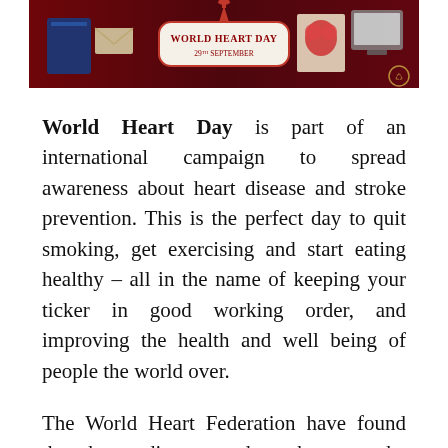[Figure (photo): World Heart Day banner image showing a dark red/maroon background with cards, envelopes, a globe, and a heart diagram. A prominent label in the center reads 'World Heart Day 29th September'.]
World Heart Day is part of an international campaign to spread awareness about heart disease and stroke prevention. This is the perfect day to quit smoking, get exercising and start eating healthy – all in the name of keeping your ticker in good working order, and improving the health and well being of people the world over.
The World Heart Federation have found that heart disease and strokes are the world's leading cause of death, killing 17.1 million